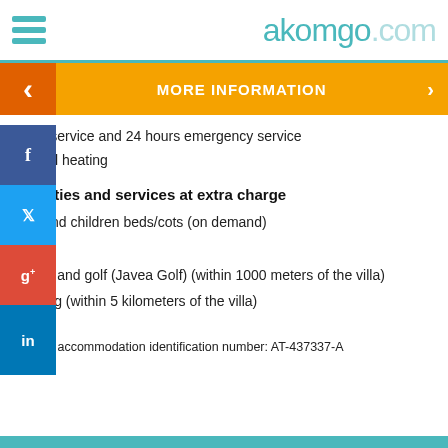akomgo.com
MORE INFORMATION
ption service and 24 hours emergency service
central heating
Facilities and services at extra charge
bed and children beds/cots (on demand)
s
tennis and golf (Javea Golf) (within 1000 meters of the villa)
e riding (within 5 kilometers of the villa)
Official accommodation identification number: AT-437337-A